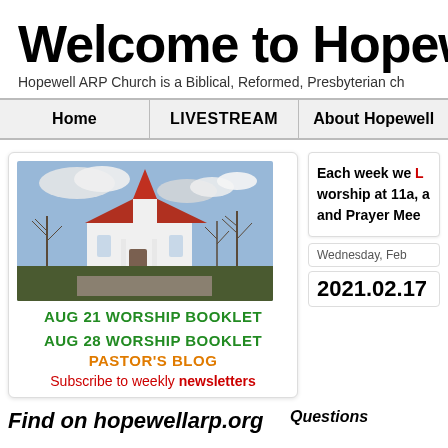Welcome to Hopewe
Hopewell ARP Church is a Biblical, Reformed, Presbyterian ch
Home | LIVESTREAM | About Hopewell
[Figure (photo): Photograph of a white church building with a red roof and steeple, surrounded by bare winter trees under a partly cloudy sky.]
AUG 21 WORSHIP BOOKLET
AUG 28 WORSHIP BOOKLET
PASTOR'S BLOG
Subscribe to weekly newsletters
Each week we LIVESTREAM worship at 11a, and Prayer Mee
Wednesday, Feb
2021.02.17
Find on hopewellarp.org
Questions